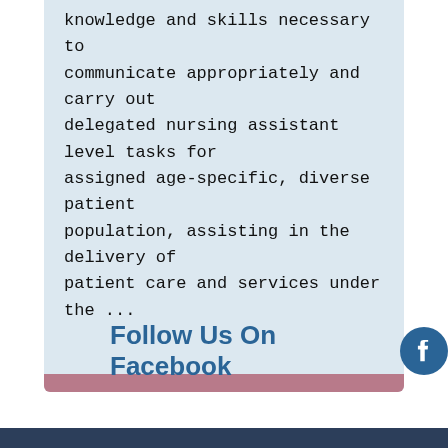knowledge and skills necessary to communicate appropriately and carry out delegated nursing assistant level tasks for assigned age-specific, diverse patient population, assisting in the delivery of patient care and services under the ...
Follow Us On Facebook